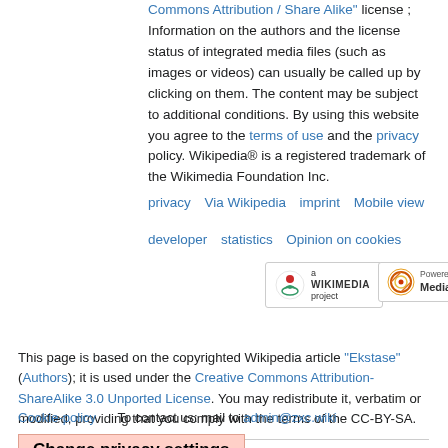Commons Attribution / Share Alike" license ; Information on the authors and the license status of integrated media files (such as images or videos) can usually be called up by clicking on them. The content may be subject to additional conditions. By using this website you agree to the terms of use and the privacy policy. Wikipedia® is a registered trademark of the Wikimedia Foundation Inc.
privacy   Via Wikipedia   imprint   Mobile view
developer   statistics   Opinion on cookies
[Figure (logo): Wikimedia project logo badge]
[Figure (logo): Powered by MediaWiki logo badge]
This page is based on the copyrighted Wikipedia article "Ekstase" (Authors); it is used under the Creative Commons Attribution-ShareAlike 3.0 Unported License. You may redistribute it, verbatim or modified, providing that you comply with the terms of the CC-BY-SA.
Cookie-policy   To contact us: mail to admin@zxc.wiki
Change privacy settings